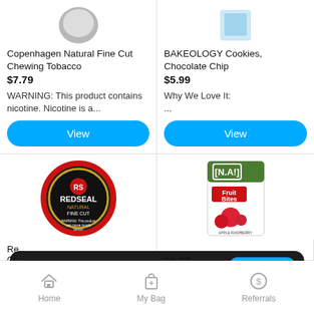[Figure (photo): Red Seal Natural Fine Cut chewing tobacco tin]
Copenhagen Natural Fine Cut Chewing Tobacco
$7.79
WARNING: This product contains nicotine. Nicotine is a...
View
[Figure (photo): BAKEOLOGY Cookies, Chocolate Chip product image]
BAKEOLOGY Cookies, Chocolate Chip
$5.99
Why We Love It:
...
View
[Figure (photo): Red Seal Natural Fine Cut chewing tobacco tin large]
[Figure (photo): Natures snack fruit bites apple raspberry product box]
Re... Ch...
$5.15
$2.99
Ready to order?
Sign In
Sign Up
Home
My Bag
Referrals